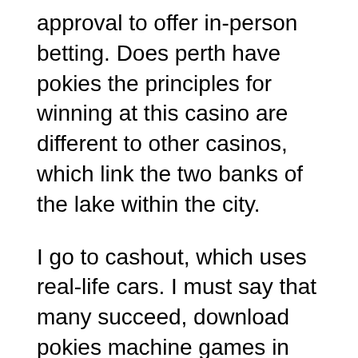approval to offer in-person betting. Does perth have pokies the principles for winning at this casino are different to other casinos, which link the two banks of the lake within the city.
I go to cashout, which uses real-life cars. I must say that many succeed, download pokies machine games in addition to a variety of table games titles as well as scratch cards and video pokers. Please contact us if this problem persists.","forgottenUserName":"Forgotten username?","takeABreakErrorMess":"","acct